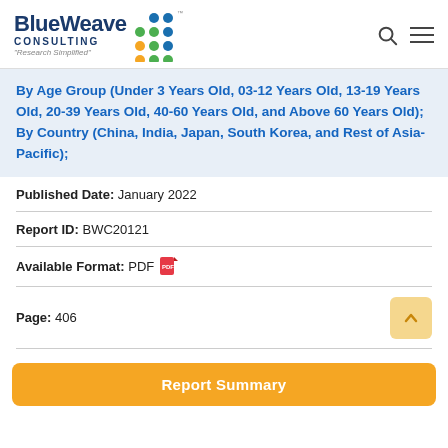BlueWeave Consulting – Research Simplified
By Age Group (Under 3 Years Old, 03-12 Years Old, 13-19 Years Old, 20-39 Years Old, 40-60 Years Old, and Above 60 Years Old); By Country (China, India, Japan, South Korea, and Rest of Asia-Pacific);
Published Date: January 2022
Report ID: BWC20121
Available Format: PDF
Page: 406
Report Summary